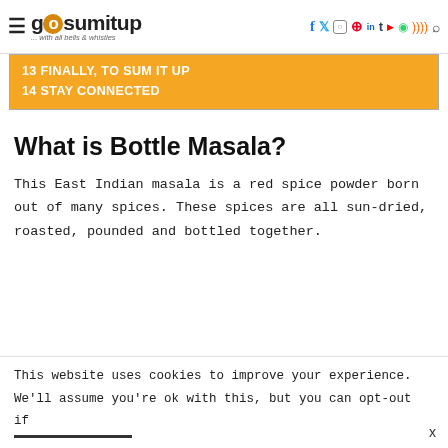gosumitup ... with all bells & whistles — social icons
13 FINALLY, TO SUM IT UP
14 STAY CONNECTED
What is Bottle Masala?
This East Indian masala is a red spice powder born out of many spices. These spices are all sun-dried, roasted, pounded and bottled together.
This website uses cookies to improve your experience. We'll assume you're ok with this, but you can opt-out if